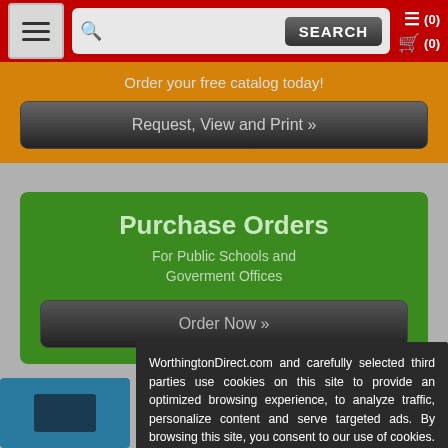Navigation bar with menu button, search field, SEARCH button, and cart icons (0) (0)
Order your free catalog today!
Request, View and Print »
Purchase Orders
For Public Schools and Goverment Offices
Order Now »
WorthingtonDirect.com and carefully selected third parties use cookies on this site to provide an optimized browsing experience, to analyze traffic, personalize content and serve targeted ads. By browsing this site, you consent to our use of cookies. Learn more here: We Value Your Privacy.
I Accept